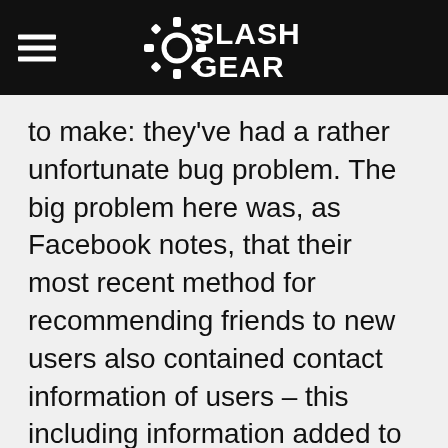SlashGear
to make: they've had a rather unfortunate bug problem. The big problem here was, as Facebook notes, that their most recent method for recommending friends to new users also contained contact information of users – this including information added to Facebook by the users, mind you, nothing deeper than that.